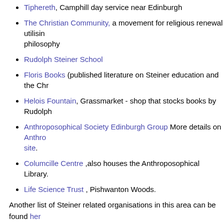Tiphereth, Camphill day service near Edinburgh
The Christian Community, a movement for religious renewal utilisin philosophy
Rudolph Steiner School
Floris Books (published literature on Steiner education and the Chr
Helois Fountain, Grassmarket - shop that stocks books by Rudolph
Anthroposophical Society Edinburgh Group More details on Anthro site.
Columcille Centre ,also houses the Anthroposophical Library.
Life Science Trust , Pishwanton Woods.
Another list of Steiner related organisations in this area can be found her
Note: This is my 200th article in this blog.
Update 20th August 2013
The Edinburgh group of the Anthroposophical Society has changed its na Edinburgh".
The Anthroposophical Library has moved from the Columcille Centre to t